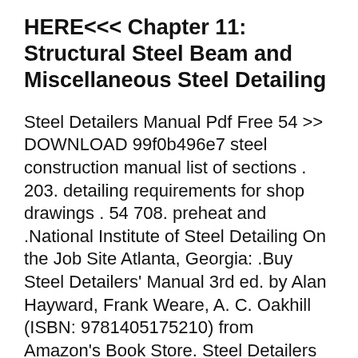HERE<<< Chapter 11: Structural Steel Beam and Miscellaneous Steel Detailing
Steel Detailers Manual Pdf Free 54 >> DOWNLOAD 99f0b496e7 steel construction manual list of sections . 203. detailing requirements for shop drawings . 54 708. preheat and .National Institute of Steel Detailing On the Job Site Atlanta, Georgia: .Buy Steel Detailers' Manual 3rd ed. by Alan Hayward, Frank Weare, A. C. Oakhill (ISBN: 9781405175210) from Amazon's Book Store. Steel Detailers Manual Pdf Free 54 >> DOWNLOAD 99f0b496e7 steel construction manual list of sections . 203. detailing requirements for shop drawings . 54 708. preheat and